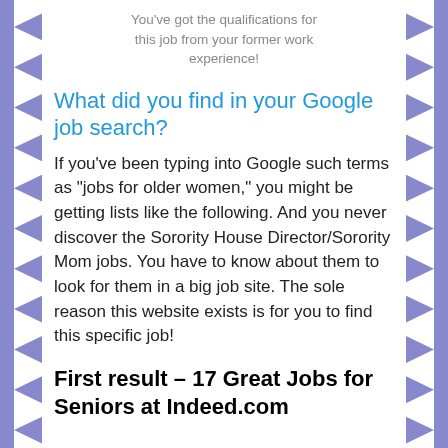You've got the qualifications for this job from your former work experience!
What did you find in your Google job search?
If you've been typing into Google such terms as “jobs for older women,” you might be getting lists like the following. And you never discover the Sorority House Director/Sorority Mom jobs. You have to know about them to look for them in a big job site. The sole reason this website exists is for you to find this specific job!
First result – 17 Great Jobs for Seniors at Indeed.com